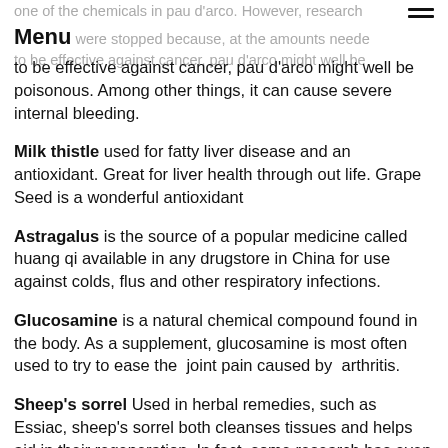one of the chemicals in pau d'arco. However, research were stopped because, at the amounts needed to be effective against cancer, pau d'arco might well be poisonous. Among other things, it can cause severe internal bleeding.
Milk thistle used for fatty liver disease and an antioxidant. Great for liver health through out life. Grape Seed is a wonderful antioxidant
Astragalus is the source of a popular medicine called huang qi available in any drugstore in China for use against colds, flus and other respiratory infections.
Glucosamine is a natural chemical compound found in the body. As a supplement, glucosamine is most often used to try to ease the joint pain caused by arthritis.
Sheep's sorrel Used in herbal remedies, such as Essiac, sheep's sorrel both cleanses tissues and helps aid in their regeneration. In fact, some research has even shown that it helps tissues and cells regain their normal attributes after being damaged by cancer. Helpful in